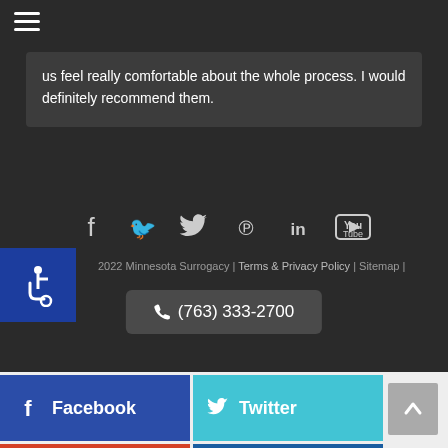us feel really comfortable about the whole process. I would definitely recommend them.
[Figure (other): Social media icons row: Facebook, Twitter, Pinterest, LinkedIn, YouTube]
2022 Minnesota Surrogacy | Terms & Privacy Policy | Sitemap |
(763) 333-2700
[Figure (other): Accessibility wheelchair icon button]
Facebook
Twitter
Google+
Linked In
[Figure (other): Scroll to top button with upward arrow]